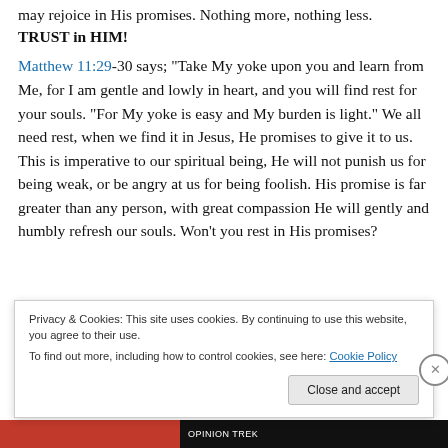TRUST in HIM!
Matthew 11:29-30 says; “Take My yoke upon you and learn from Me, for I am gentle and lowly in heart, and you will find rest for your souls. “For My yoke is easy and My burden is light.” We all need rest, when we find it in Jesus, He promises to give it to us. This is imperative to our spiritual being, He will not punish us for being weak, or be angry at us for being foolish. His promise is far greater than any person, with great compassion He will gently and humbly refresh our souls. Won’t you rest in His promises?
Privacy & Cookies: This site uses cookies. By continuing to use this website, you agree to their use.
To find out more, including how to control cookies, see here: Cookie Policy